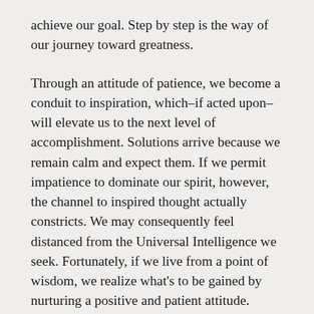achieve our goal. Step by step is the way of our journey toward greatness.
Through an attitude of patience, we become a conduit to inspiration, which–if acted upon–will elevate us to the next level of accomplishment. Solutions arrive because we remain calm and expect them. If we permit impatience to dominate our spirit, however, the channel to inspired thought actually constricts. We may consequently feel distanced from the Universal Intelligence we seek. Fortunately, if we live from a point of wisdom, we realize what's to be gained by nurturing a positive and patient attitude. Without this, we may be sabotaging the achievement of our desires.
Dare to dream (and care for one another).